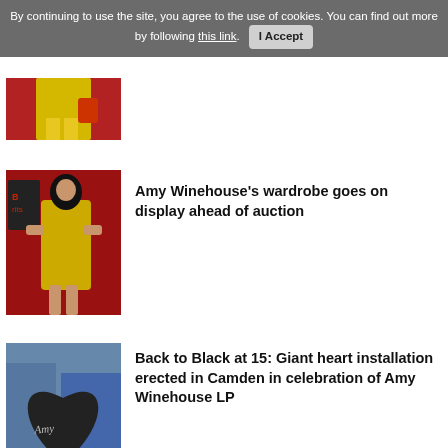By continuing to use the site, you agree to the use of cookies. You can find out more by following this link. I Accept
[Figure (photo): Partial view of a person in a yellow dress on a red carpet, cropped at top]
[Figure (photo): Amy Winehouse in a yellow dress at the Brits, standing on a red carpet]
Amy Winehouse's wardrobe goes on display ahead of auction
[Figure (photo): Large black heart sculpture with 'Amy' written in cursive, situated in Camden]
Back to Black at 15: Giant heart installation erected in Camden in celebration of Amy Winehouse LP